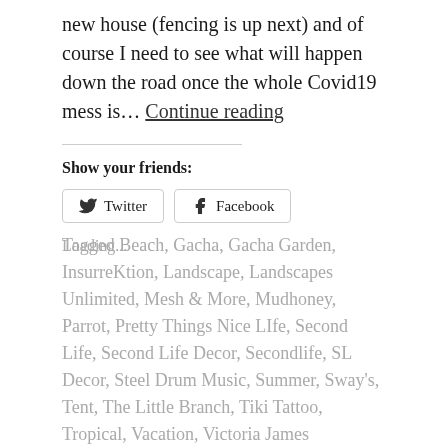new house (fencing is up next) and of course I need to see what will happen down the road once the whole Covid19 mess is… Continue reading
Show your friends:
Twitter  Facebook
Loading...
Tagged Beach, Gacha, Gacha Garden, InsurreKtion, Landscape, Landscapes Unlimited, Mesh & More, Mudhoney, Parrot, Pretty Things Nice LIfe, Second Life, Second Life Decor, Secondlife, SL Decor, Steel Drum Music, Summer, Sway's, Tent, The Little Branch, Tiki Tattoo, Tropical, Vacation, Victoria James